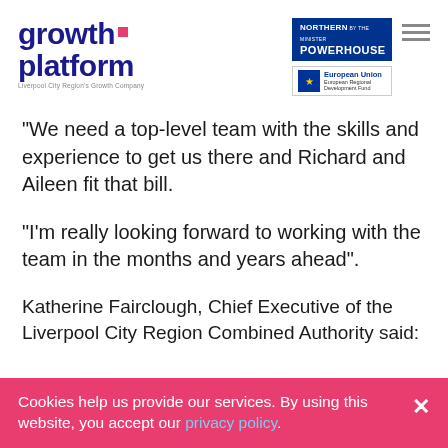[Figure (logo): Growth Platform logo - Liverpool City Region Growth Company]
[Figure (logo): Northern Powerhouse logo and European Union European Regional Development Fund logo with hamburger menu icon]
“We need a top-level team with the skills and experience to get us there and Richard and Aileen fit that bill.
“I’m really looking forward to working with the team in the months and years ahead”.
Katherine Fairclough, Chief Executive of the Liverpool City Region Combined Authority said:
Cookies help us provide our services. By using this website, you accept our privacy policy.